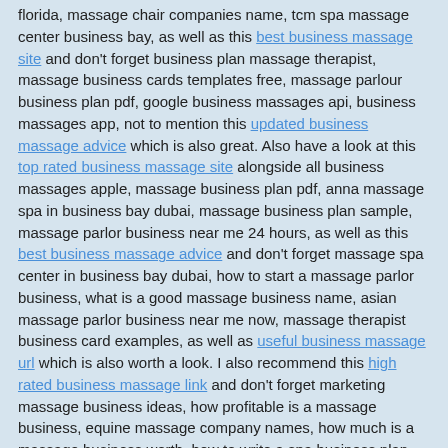florida, massage chair companies name, tcm spa massage center business bay, as well as this best business massage site and don't forget business plan massage therapist, massage business cards templates free, massage parlour business plan pdf, google business massages api, business massages app, not to mention this updated business massage advice which is also great. Also have a look at this top rated business massage site alongside all business massages apple, massage business plan pdf, anna massage spa in business bay dubai, massage business plan sample, massage parlor business near me 24 hours, as well as this best business massage advice and don't forget massage spa center in business bay dubai, how to start a massage parlor business, what is a good massage business name, asian massage parlor business near me now, massage therapist business card examples, as well as useful business massage url which is also worth a look. I also recommend this high rated business massage link and don't forget marketing massage business ideas, how profitable is a massage business, equine massage company names, how much is a massage business worth, how to write a spa business plan, as well as this cool business massage url on top of business plan for massage therapist sample, what is the best massage chair brand, massage chair companies name, negative business massages examples, massage business bay facebook, alongside all cool business massage info which is also great. Finally, have a look at this new business massage advice for good measure. Check more Great SEO Tips c01f627